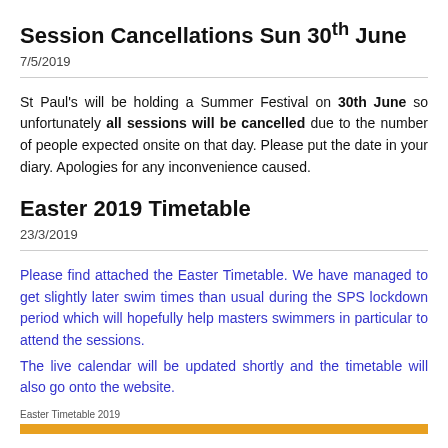Session Cancellations Sun 30th June
7/5/2019
St Paul's will be holding a Summer Festival on 30th June so unfortunately all sessions will be cancelled due to the number of people expected onsite on that day. Please put the date in your diary. Apologies for any inconvenience caused.
Easter 2019 Timetable
23/3/2019
Please find attached the Easter Timetable. We have managed to get slightly later swim times than usual during the SPS lockdown period which will hopefully help masters swimmers in particular to attend the sessions.
The live calendar will be updated shortly and the timetable will also go onto the website.
Easter Timetable 2019